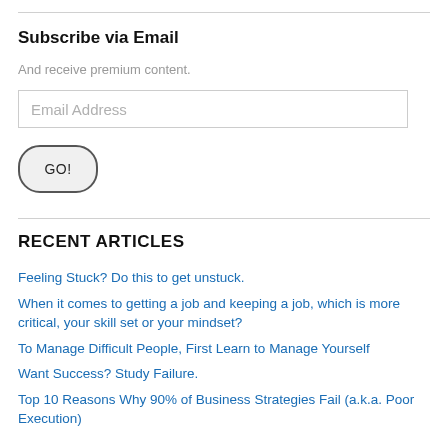Subscribe via Email
And receive premium content.
[Figure (other): Email Address input field placeholder]
[Figure (other): GO! submit button]
RECENT ARTICLES
Feeling Stuck? Do this to get unstuck.
When it comes to getting a job and keeping a job, which is more critical, your skill set or your mindset?
To Manage Difficult People, First Learn to Manage Yourself
Want Success? Study Failure.
Top 10 Reasons Why 90% of Business Strategies Fail (a.k.a. Poor Execution)